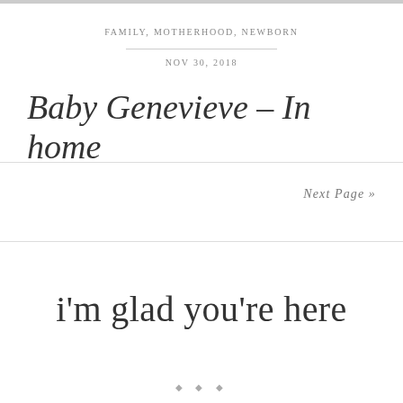FAMILY, MOTHERHOOD, NEWBORN
NOV 30, 2018
Baby Genevieve – In home
Next Page »
i'm glad you're here